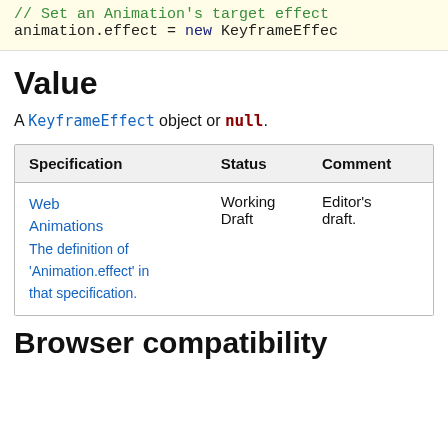// Set an Animation's target effect
animation.effect = new KeyframeEffec
Value
A KeyframeEffect object or null.
| Specification | Status | Comment |
| --- | --- | --- |
| Web Animations
The definition of 'Animation.effect' in that specification. | Working Draft | Editor's draft. |
Browser compatibility